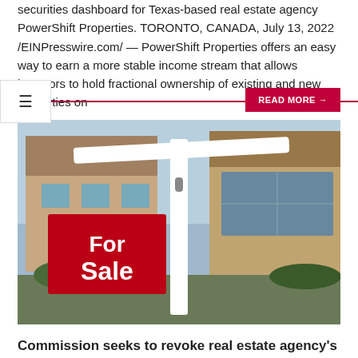securities dashboard for Texas-based real estate agency PowerShift Properties. TORONTO, CANADA, July 13, 2022 /EINPresswire.com/ — PowerShift Properties offers an easy way to earn a more stable income stream that allows investors to hold fractional ownership of existing and new properties on
READ MORE →
[Figure (photo): A red 'For Sale' sign hanging from a white post in front of a residential house, photographed from a low angle against a light sky.]
Commission seeks to revoke real estate agency's